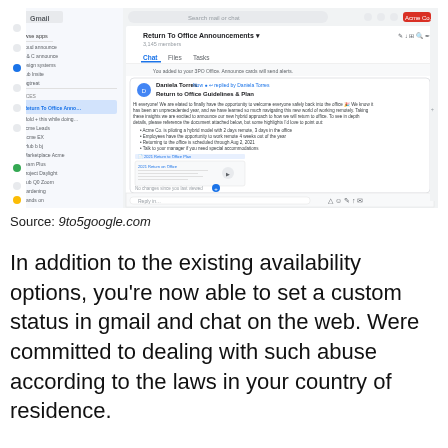[Figure (screenshot): Gmail interface showing a Google Chat 'Return To Office Announcements' group with 3,145 members. A message from Daniela Torres is visible with the subject 'Return to Office Guidelines & Plan', containing bullet points about a hybrid model with 2 days remote and 3 days in office, employee opportunities, returning to office scheduled through Aug 2, 2021, and talking to a manager for special accommodations. An attached document titled '2021 Return to Office Plan' is shown. The left sidebar shows Gmail navigation with folders including Return To Office Anno..., Hold + this while doing..., Acme Leads, Acme EX, Hub b bj, Markeplace Acme, Team Plus, Product Daylight, Hub Q0 Zoom, Gardening, Hands on.]
Source: 9to5google.com
In addition to the existing availability options, you’re now able to set a custom status in gmail and chat on the web. Were committed to dealing with such abuse according to the laws in your country of residence.